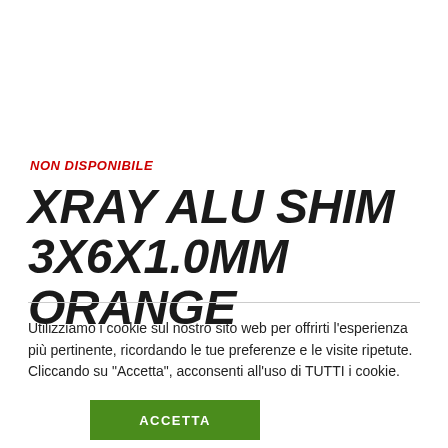NON DISPONIBILE
XRAY ALU SHIM 3X6X1.0MM ORANGE
Utilizziamo i cookie sul nostro sito web per offrirti l'esperienza più pertinente, ricordando le tue preferenze e le visite ripetute. Cliccando su "Accetta", acconsenti all'uso di TUTTI i cookie.
ACCETTA